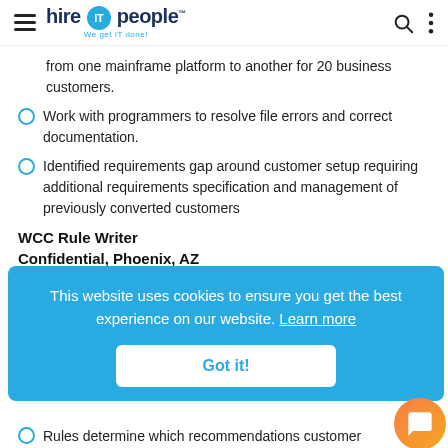hire IT people — We get IT done!
from one mainframe platform to another for 20 business customers.
Work with programmers to resolve file errors and correct documentation.
Identified requirements gap around customer setup requiring additional requirements specification and management of previously converted customers
WCC Rule Writer
Confidential, Phoenix, AZ
[Figure (other): Cookie consent banner with text: This website uses cookies to ensure you get the best experience on our website. Learn more. Button: Got it!]
Rules determine which recommendations customer